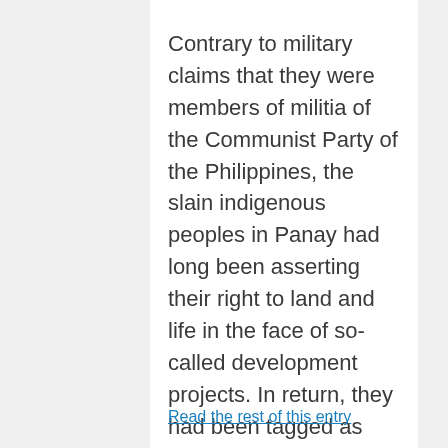Contrary to military claims that they were members of militia of the Communist Party of the Philippines, the slain indigenous peoples in Panay had long been asserting their right to land and life in the face of so-called development projects. In return, they had been tagged as enemies of the state and subjected to intense militarization over the years.
Read the rest of this entry